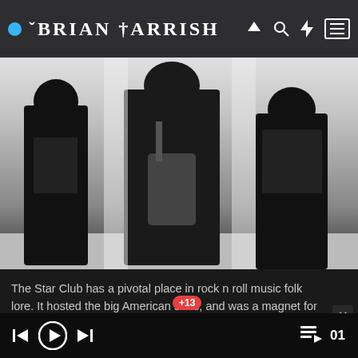Brian Parrish
[Figure (photo): Black and white photo of a rock band, three figures shown from waist down, one holding what appears to be a guitar case or bag in the center]
The Star Club has a pivotal place in rock n roll music folk lore. It hosted the big American stars, and was a magnet for young British bands. It was the place which taught us lessons in "stage craft", what playing in a band together was really about, whilst giving us the opportunity night after night to improve our musical skills. It is where many of the musicians I most admire began their professional journeys and has given some precious life long memories.
+13  01